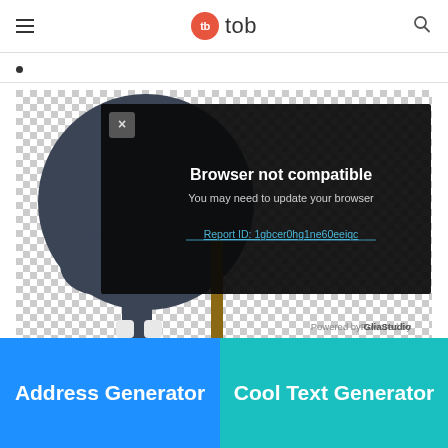tb tob
[Figure (screenshot): Screenshot of a website showing a 'Browser not compatible' error popup overlay on a cartoon character image, with bottom banners for 'Address Generator' and 'Cool Text Generator']
Browser not compatible
You may need to update your browser
Report ID: 1gbcer0hg1ne60eeiqc
Powered by GliaStudio
Address Generator
Cool Text Generator